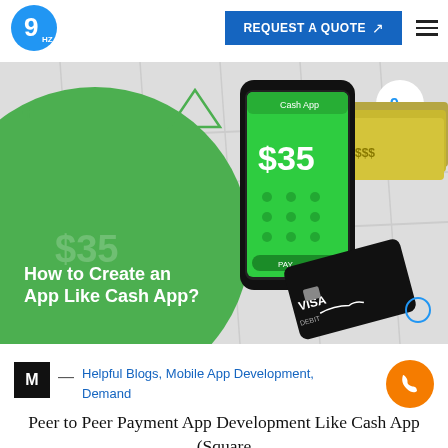[Figure (logo): 9hz logo — blue circle with stylized 9 and hz subscript]
[Figure (screenshot): Hero image showing a Cash App-style mobile payment app screen with $35, a VISA card, stacks of dollar bills, green circle background, and text 'How to Create an App Like Cash App?']
M — Helpful Blogs, Mobile App Development, Demand
[Figure (illustration): Orange circular phone/call button icon]
Peer to Peer Payment App Development Like Cash App (Square Cash) & [ Cost & Features ]